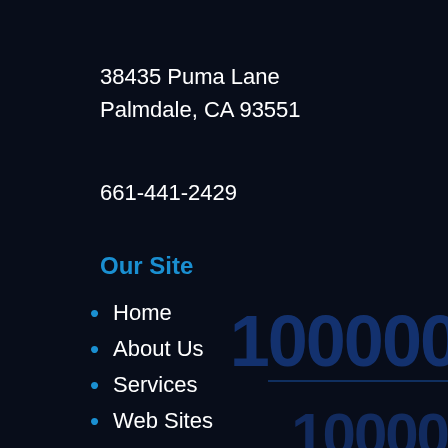38435 Puma Lane
Palmdale, CA 93551
661-441-2429
Our Site
Home
About Us
Services
Web Sites
Blogs
Resources
Newsletter